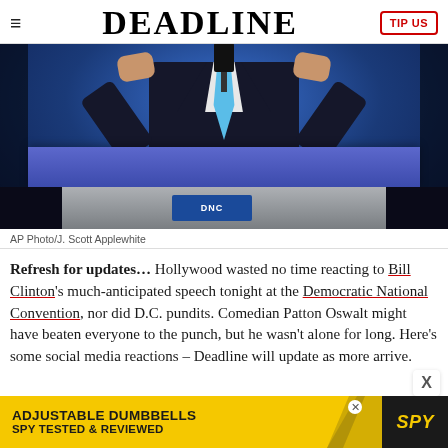DEADLINE
[Figure (photo): Person in dark suit with light blue tie speaking at a podium at the Democratic National Convention, hands raised, microphone visible. Photo credit: AP Photo/J. Scott Applewhite]
AP Photo/J. Scott Applewhite
Refresh for updates… Hollywood wasted no time reacting to Bill Clinton's much-anticipated speech tonight at the Democratic National Convention, nor did D.C. pundits. Comedian Patton Oswalt might have beaten everyone to the punch, but he wasn't alone for long. Here's some social media reactions – Deadline will update as more arrive.
[Figure (other): Advertisement banner: ADJUSTABLE DUMBBELLS SPY TESTED & REVIEWED with SPY logo]